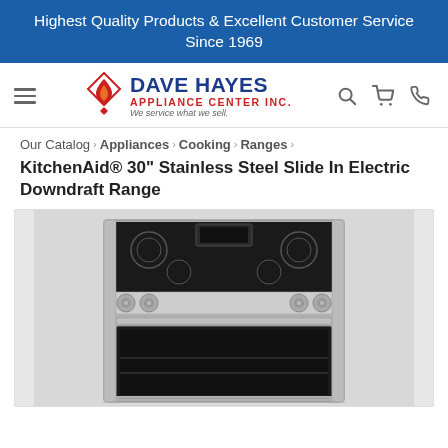Highest Quality Products & Excellent Customer Service Since 1969
[Figure (logo): Dave Hayes Appliance Center Inc. logo with flame/diamond icon. Tagline: We service what we sell.]
Our Catalog › Appliances › Cooking › Ranges ›
KitchenAid® 30" Stainless Steel Slide In Electric Downdraft Range
[Figure (photo): Black and white photo of a KitchenAid 30" Stainless Steel Slide In Electric Downdraft Range, showing the cooktop with knobs and open oven cavity.]